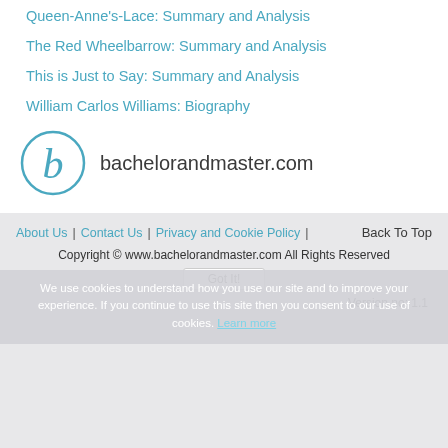Queen-Anne's-Lace: Summary and Analysis
The Red Wheelbarrow: Summary and Analysis
This is Just to Say: Summary and Analysis
William Carlos Williams: Biography
[Figure (logo): bachelorandmaster.com logo with stylized 'b' in a circle]
About Us | Contact Us | Privacy and Cookie Policy | Back To Top
We use cookies to understand how you use our site and to improve your experience. If you continue to use this site then you consent to our use of cookies. Learn more
Copyright © www.bachelorandmaster.com All Rights Reserved
Got It!
Version no: 1.1